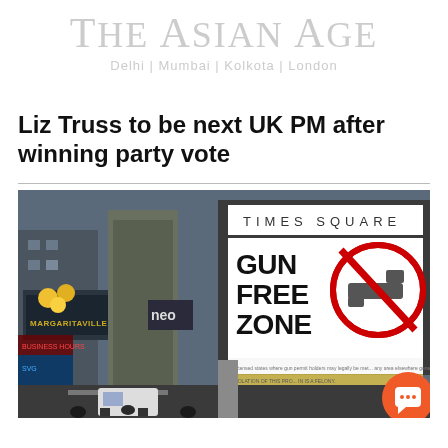The Asian Age
Delhi | Mumbai | Kolkota | London
Liz Truss to be next UK PM after winning party vote
[Figure (photo): Photo of Times Square in New York City with a billboard showing a 'GUN FREE ZONE' sign with a red circle-slash over a handgun icon, and text reading 'TIMES SQUARE' at the top of the billboard. Urban street scene with buildings, neon signs, and traffic visible.]